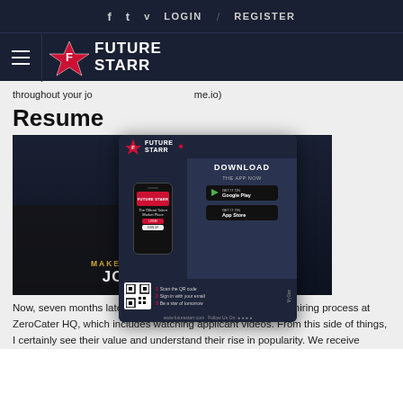f  t  v  LOGIN  /  REGISTER
[Figure (logo): FutureStarr logo with hamburger menu icon on dark navy background]
throughout your jo... me.io)
Resume
[Figure (photo): Dark background image with text 'MAKE A RESUME TO LAND THE JOBS YOU WANT' and a popup advertisement for FutureStarr app download]
Now, seven months later, I'm involved in the interviewing and hiring process at ZeroCater HQ, which includes watching applicant videos. From this side of things, I certainly see their value and understand their rise in popularity. We receive